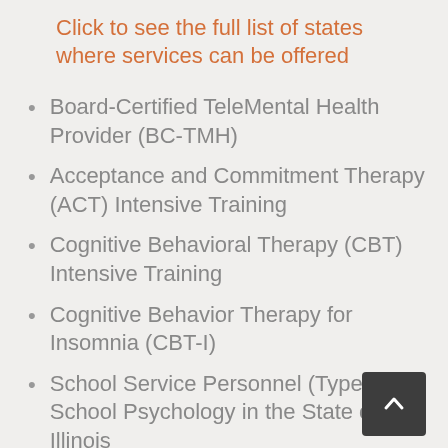Click to see the full list of states where services can be offered
Board-Certified TeleMental Health Provider (BC-TMH)
Acceptance and Commitment Therapy (ACT) Intensive Training
Cognitive Behavioral Therapy (CBT) Intensive Training
Cognitive Behavior Therapy for Insomnia (CBT-I)
School Service Personnel (Type 73) – School Psychology in the State of Illinois